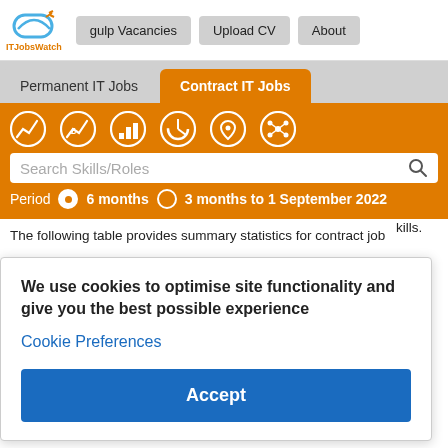ITJobsWatch — gulp Vacancies | Upload CV | About
Permanent IT Jobs | Contract IT Jobs
[Figure (screenshot): Orange toolbar with icons, search bar, and period selector showing 6 months and 3 months to 1 September 2022]
The following table provides summary statistics for contract job ...skills. ...red in ...nber ...years. ...se ...rates are
We use cookies to optimise site functionality and give you the best possible experience
Cookie Preferences
Accept